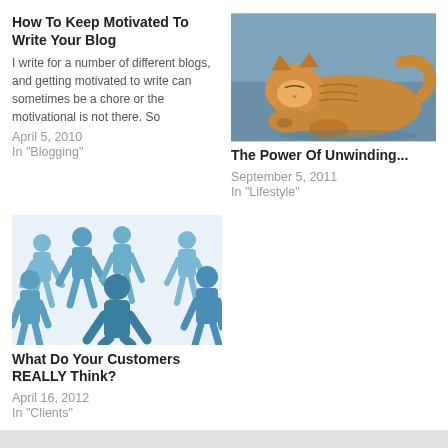How To Keep Motivated To Write Your Blog
I write for a number of different blogs, and getting motivated to write can sometimes be a chore or the motivational is not there. So
April 5, 2010
In "Blogging"
[Figure (photo): A sleeping orange and white tabby cat lying on a blue surface]
The Power Of Unwinding...
September 5, 2011
In "Lifestyle"
[Figure (illustration): Blue silhouette illustration of a crowd of people figures]
What Do Your Customers REALLY Think?
April 16, 2012
In "Clients"